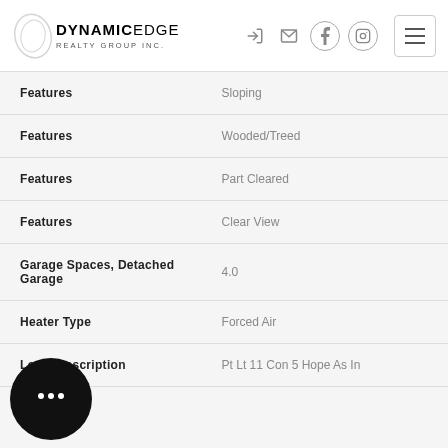DYNAMICEDGE REALTY GROUP INC.
| Property | Value |
| --- | --- |
| Features | Sloping |
| Features | Wooded/Treed |
| Features | Part Cleared |
| Features | Clear View |
| Garage Spaces, Detached Garage | 4.0 |
| Heater Type | Forced Air |
| Legal Description | Pt Lt 11 Con 5 Hope As In |